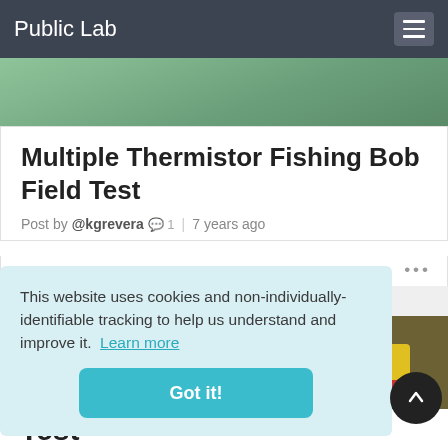Public Lab
Multiple Thermistor Fishing Bob Field Test
Post by @kgrevera 1 | 7 years ago
[Figure (photo): Green-tinted background image at top of card, partially visible]
[Figure (photo): Background photo of fishing bob with yellow and red sections against dark olive background]
This website uses cookies and non-individually-identifiable tracking to help us understand and improve it. Learn more
Got it!
Test